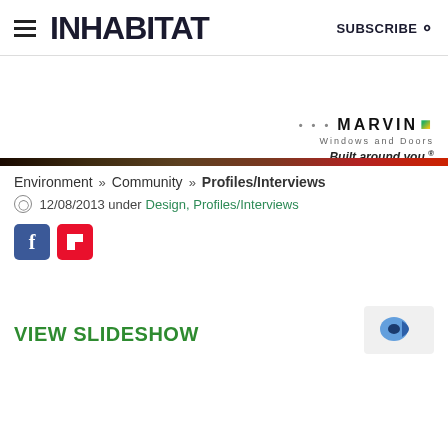INHABITAT | SUBSCRIBE
[Figure (logo): Marvin Windows and Doors advertisement banner with logo and tagline 'Built around you.']
Environment >> Community >> Profiles/Interviews
12/08/2013 under Design, Profiles/Interviews
[Figure (infographic): Social share buttons: Facebook (blue) and Flipboard (red)]
VIEW SLIDESHOW